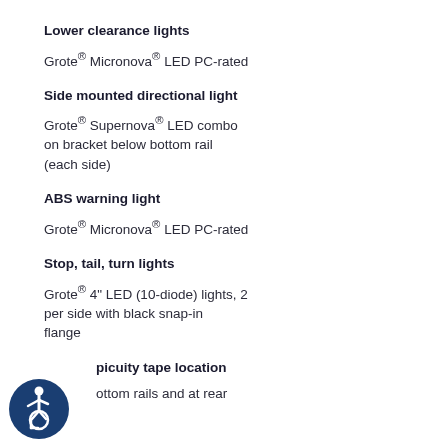Lower clearance lights
Grote® Micronova® LED PC-rated
Side mounted directional light
Grote® Supernova® LED combo on bracket below bottom rail (each side)
ABS warning light
Grote® Micronova® LED PC-rated
Stop, tail, turn lights
Grote® 4" LED (10-diode) lights, 2 per side with black snap-in flange
Conspicuity tape location
bottom rails and at rear
[Figure (illustration): Accessibility icon - blue circle with white wheelchair user symbol]